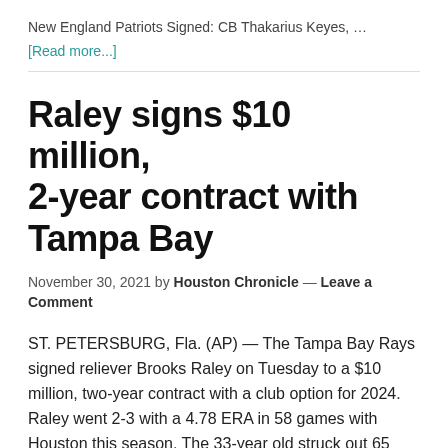New England Patriots Signed: CB Thakarius Keyes, …
[Read more...]
Raley signs $10 million, 2-year contract with Tampa Bay
November 30, 2021 by Houston Chronicle — Leave a Comment
ST. PETERSBURG, Fla. (AP) — The Tampa Bay Rays signed reliever Brooks Raley on Tuesday to a $10 million, two-year contract with a club option for 2024. Raley went 2-3 with a 4.78 ERA in 58 games with Houston this season. The 33-year old struck out 65 and walked 16 in